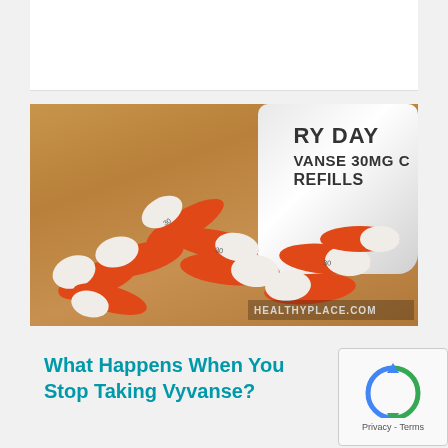[Figure (photo): Photo of orange and white Vyvanse 30MG capsules/pills scattered on a wooden surface next to a white prescription pill bottle labeled 'VYVANSE 30MG' with 'EVERY DAY' and 'REFILLS' text. Watermark reads HEALTHYPLACE.COM]
What Happens When You Stop Taking Vyvanse?
[Figure (other): reCAPTCHA widget showing Privacy - Terms text]